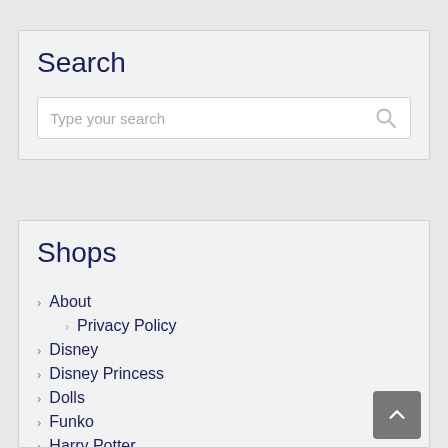Search
Type your search
Shops
About
Privacy Policy
Disney
Disney Princess
Dolls
Funko
Harry Potter
Jewelry: Diamonds